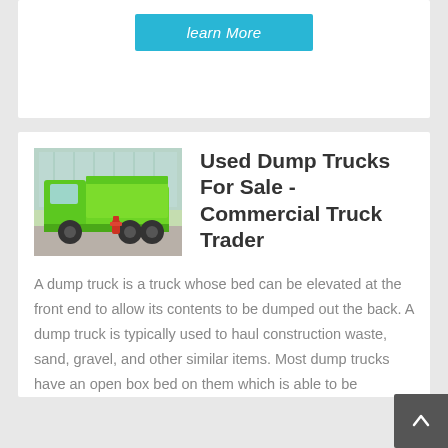[Figure (other): A cyan/turquoise 'learn More' button at the top of the page]
[Figure (photo): A bright green dump truck parked outdoors, side view, with a red fire hydrant visible near the rear wheels]
Used Dump Trucks For Sale - Commercial Truck Trader
A dump truck is a truck whose bed can be elevated at the front end to allow its contents to be dumped out the back. A dump truck is typically used to haul construction waste, sand, gravel, and other similar items. Most dump trucks have an open box bed on them which is able to be